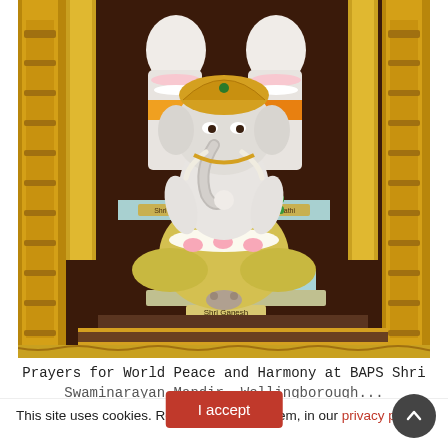[Figure (photo): A photograph of Hindu deity statues inside a temple. Prominently featured is a white marble statue of Shri Ganesh (elephant-headed deity) adorned with gold ornaments, green bangles, and white and pink flower garlands, seated on a light blue platform with a label reading 'Shri Ganesh'. Behind and to the sides are other white marble figures with labels 'Shri Shivam' and 'Shri Parvathi', also decorated with ornaments and garlands. The background features elaborate gold-colored pillars and architectural elements typical of a BAPS Swaminarayan mandir.]
Prayers for World Peace and Harmony at BAPS Shri Swaminarayan Mandir, Wellingborough...
This site uses cookies. Read how we use them, in our privacy policy.